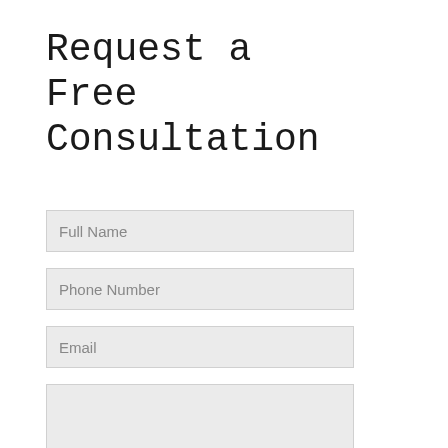Request a Free Consultation
Full Name
Phone Number
Email